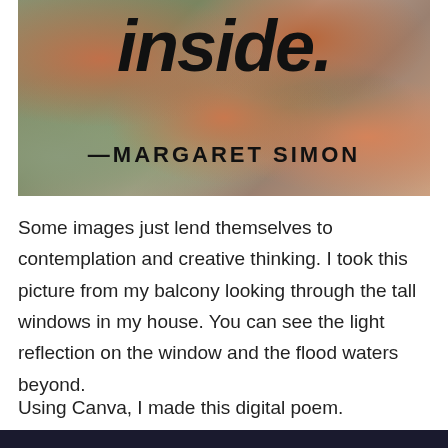[Figure (photo): A close-up photo of tree bark with mottled textures in grey, green, and orange/copper tones. Overlaid with bold italic text 'inside.' in large black handwritten-style font, and below it '—MARGARET SIMON' in black bold spaced capitals.]
Some images just lend themselves to contemplation and creative thinking. I took this picture from my balcony looking through the tall windows in my house. You can see the light reflection on the window and the flood waters beyond.
Using Canva, I made this digital poem.